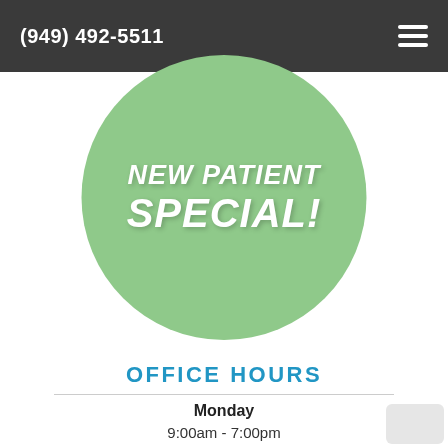(949) 492-5511
[Figure (illustration): Green circle badge with white bold italic text reading 'NEW PATIENT SPECIAL!']
OFFICE HOURS
Monday
9:00am - 7:00pm